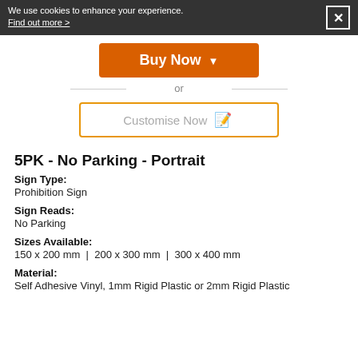We use cookies to enhance your experience. Find out more >
[Figure (other): Orange 'Buy Now' button with dropdown arrow]
or
[Figure (other): Customise Now button with pencil icon]
5PK - No Parking - Portrait
Sign Type:
Prohibition Sign
Sign Reads:
No Parking
Sizes Available:
150 x 200 mm | 200 x 300 mm | 300 x 400 mm
Material:
Self Adhesive Vinyl, 1mm Rigid Plastic or 2mm Rigid Plastic